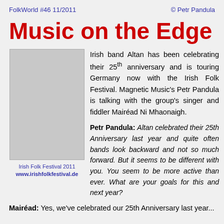FolkWorld #46 11/2011   © Petr Pandula
Music on the Edge
[Figure (photo): Gray placeholder image for Irish Folk Festival 2011 photo]
Irish Folk Festival 2011
www.irishfolkfestival.de
Irish band Altan has been celebrating their 25th anniversary and is touring Germany now with the Irish Folk Festival. Magnetic Music's Petr Pandula is talking with the group's singer and fiddler Mairéad Ni Mhaonaigh.
Petr Pandula: Altan celebrated their 25th Anniversary last year and quite often bands look backward and not so much forward. But it seems to be different with you. You seem to be more active than ever. What are your goals for this and next year?
Mairéad: Yes, we've celebrated our 25th Anniversary last year...